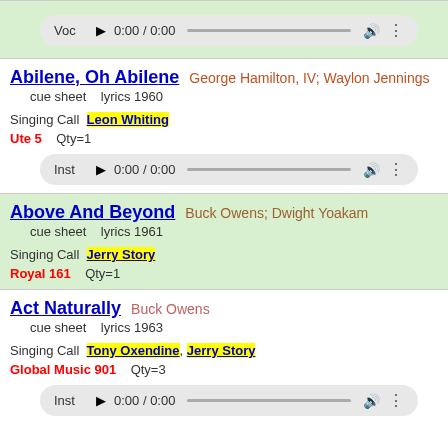[Figure (screenshot): Audio player bar labeled 'Voc' showing 0:00 / 0:00 with play button, seek bar, volume and menu icons]
Abilene, Oh Abilene — George Hamilton, IV; Waylon Jennings
cue sheet   lyrics 1960
Singing Call  Leon Whiting
Ute 5   Qty=1
[Figure (screenshot): Audio player bar labeled 'Inst' showing 0:00 / 0:00 with play button, seek bar, volume and menu icons]
Above And Beyond — Buck Owens; Dwight Yoakam
cue sheet   lyrics 1961
Singing Call  Jerry Story
Royal 161   Qty=1
Act Naturally — Buck Owens
cue sheet   lyrics 1963
Singing Call  Tony Oxendine, Jerry Story
Global Music 901   Qty=3
[Figure (screenshot): Audio player bar labeled 'Inst' showing 0:00 / 0:00 with play button, seek bar, volume and menu icons]